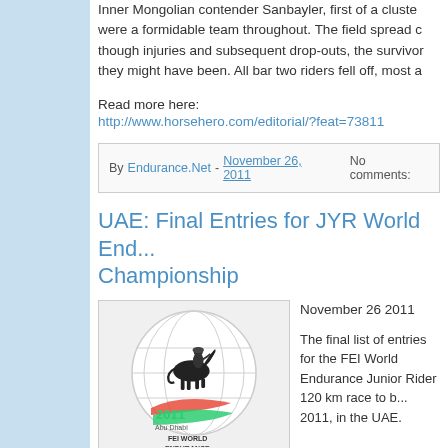Inner Mongolian contender Sanbayler, first of a cluster... were a formidable team throughout. The field spread c... though injuries and subsequent drop-outs, the survivo... they might have been. All bar two riders fell off, most a...
Read more here:
http://www.horsehero.com/editorial/?feat=73811
By Endurance.Net - November 26, 2011   No comments:
UAE: Final Entries for JYR World Endurance Championship
[Figure (logo): 2011 Abu Dhabi FEI World Endurance Championship logo with globe and horse rider silhouette]
November 26 2011

The final list of entries for the FEI World Endurance Junior Rider 120 km race to be held... 2011, in the UAE.